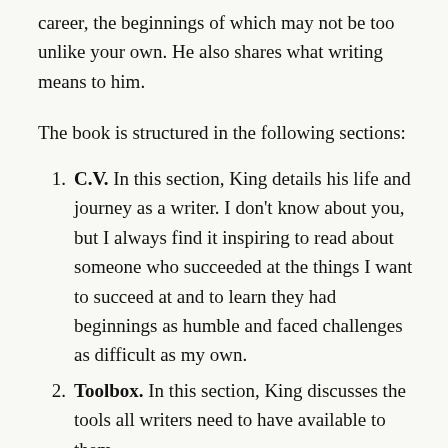career, the beginnings of which may not be too unlike your own. He also shares what writing means to him.
The book is structured in the following sections:
C.V. In this section, King details his life and journey as a writer. I don't know about you, but I always find it inspiring to read about someone who succeeded at the things I want to succeed at and to learn they had beginnings as humble and faced challenges as difficult as my own.
Toolbox. In this section, King discusses the tools all writers need to have available to them.